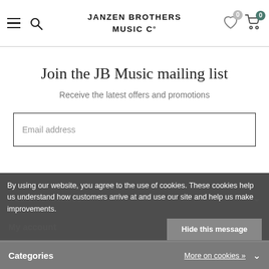JANZEN BROTHERS MUSIC CO
Join the JB Music mailing list
Receive the latest offers and promotions
Email address
By using our website, you agree to the use of cookies. These cookies help us understand how customers arrive at and use our site and help us make improvements.
Hide this message
Customer service
My account
Categories
More on cookies »